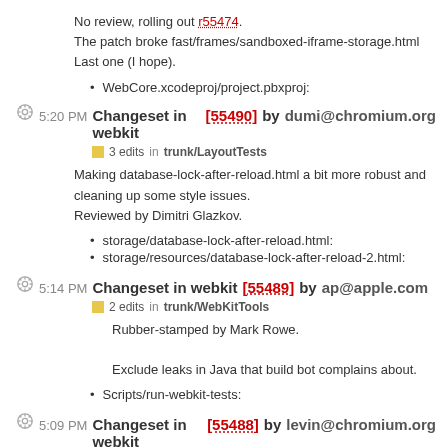No review, rolling out r55474.
The patch broke fast/frames/sandboxed-iframe-storage.html
Last one (I hope).
WebCore.xcodeproj/project.pbxproj:
5:20 PM Changeset in webkit [55490] by dumi@chromium.org
3 edits in trunk/LayoutTests
Making database-lock-after-reload.html a bit more robust and cleaning up some style issues.
Reviewed by Dimitri Glazkov.
storage/database-lock-after-reload.html:
storage/resources/database-lock-after-reload-2.html:
5:14 PM Changeset in webkit [55489] by ap@apple.com
2 edits in trunk/WebKitTools
Rubber-stamped by Mark Rowe.
Exclude leaks in Java that build bot complains about.
Scripts/run-webkit-tests:
5:09 PM Changeset in webkit [55488] by levin@chromium.org
2 edits  9 deletes in trunk